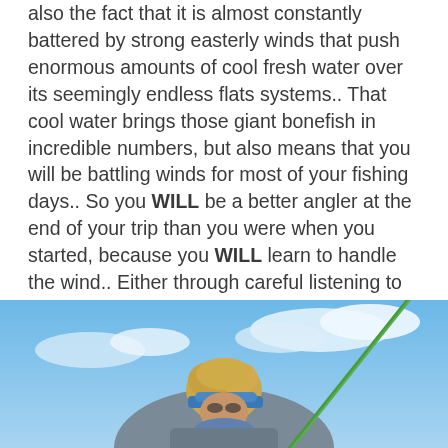also the fact that it is almost constantly battered by strong easterly winds that push enormous amounts of cool fresh water over its seemingly endless flats systems.. That cool water brings those giant bonefish in incredible numbers, but also means that you will be battling winds for most of your fishing days.. So you WILL be a better angler at the end of your trip than you were when you started, because you WILL learn to handle the wind.. Either through careful listening to your guide on how to improve your casting ( advised ) or losing your mind in frustration with seemingly EVERY fish being upwind of you on a backcast, have a mental breakdown, lose your shit, and decent into a blubbering mess before realizing that you should have listened to your guide in the first place..
[Figure (photo): A person wearing a blue visor and light jacket holding a fishing rod, photographed from below against a blue sky with white clouds.]